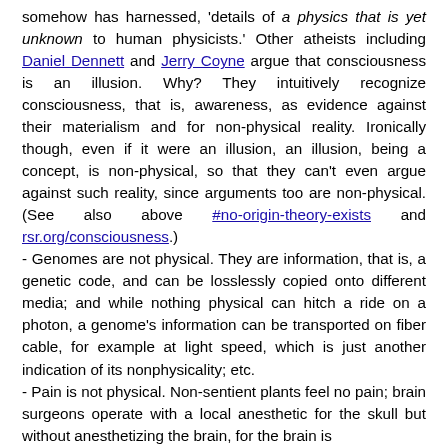somehow has harnessed, 'details of a physics that is yet unknown to human physicists.' Other atheists including Daniel Dennett and Jerry Coyne argue that consciousness is an illusion. Why? They intuitively recognize consciousness, that is, awareness, as evidence against their materialism and for non-physical reality. Ironically though, even if it were an illusion, an illusion, being a concept, is non-physical, so that they can't even argue against such reality, since arguments too are non-physical. (See also above #no-origin-theory-exists and rsr.org/consciousness.)
- Genomes are not physical. They are information, that is, a genetic code, and can be losslessly copied onto different media; and while nothing physical can hitch a ride on a photon, a genome's information can be transported on fiber cable, for example at light speed, which is just another indication of its nonphysicality; etc.
- Pain is not physical. Non-sentient plants feel no pain; brain surgeons operate with a local anesthetic for the skull but without anesthetizing the brain, for the brain is